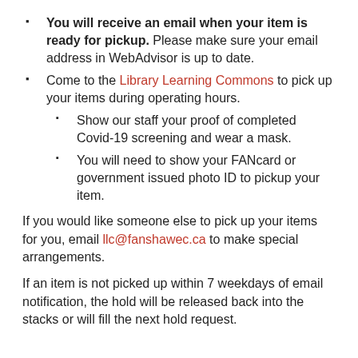You will receive an email when your item is ready for pickup. Please make sure your email address in WebAdvisor is up to date.
Come to the Library Learning Commons to pick up your items during operating hours.
Show our staff your proof of completed Covid-19 screening and wear a mask.
You will need to show your FANcard or government issued photo ID to pickup your item.
If you would like someone else to pick up your items for you, email llc@fanshawec.ca to make special arrangements.
If an item is not picked up within 7 weekdays of email notification, the hold will be released back into the stacks or will fill the next hold request.